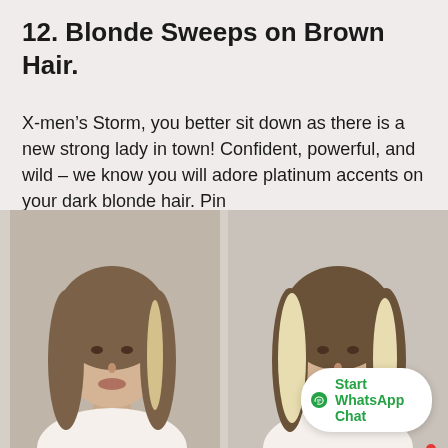12. Blonde Sweeps on Brown Hair.
X-men’s Storm, you better sit down as there is a new strong lady in town! Confident, powerful, and wild – we know you will adore platinum accents on your dark blonde hair. Pin
[Figure (photo): Before and after photo of a woman with brown hair with blonde highlights (left) and fuller platinum blonde sweep highlights (right), both with straight shoulder-length hair.]
Start WhatsApp Chat